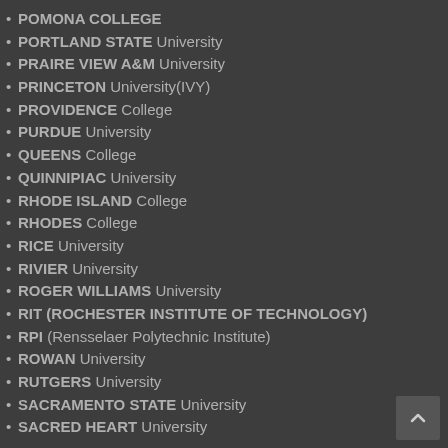POMONA COLLEGE
PORTLAND STATE University
PRAIRE VIEW A&M University
PRINCETON University(IVY)
PROVIDENCE College
PURDUE University
QUEENS College
QUINNIPIAC University
RHODE ISLAND College
RHODES College
RICE University
RIVIER University
ROGER WILLIAMS University
RIT (ROCHESTER INSTITUTE OF TECHNOLOGY)
RPI (Rensselaer Polytechnic Institute)
ROWAN University
RUTGERS University
SACRAMENTO STATE University
SACRED HEART University